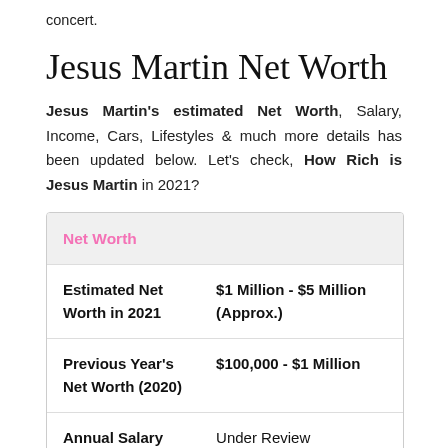concert.
Jesus Martin Net Worth
Jesus Martin's estimated Net Worth, Salary, Income, Cars, Lifestyles & much more details has been updated below. Let's check, How Rich is Jesus Martin in 2021?
| Net Worth |  |
| --- | --- |
| Estimated Net Worth in 2021 | $1 Million - $5 Million (Approx.) |
| Previous Year's Net Worth (2020) | $100,000 - $1 Million |
| Annual Salary | Under Review |